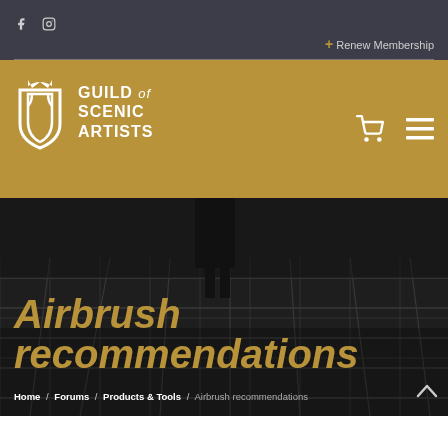f [facebook icon] [instagram icon]
+ Renew Membership
[Figure (logo): Guild of Scenic Artists logo — shield/canteen icon with crown, text reads GUILD of SCENIC ARTISTS]
Airbrush recommendations
Home / Forums / Products & Tools / Airbrush recommendations